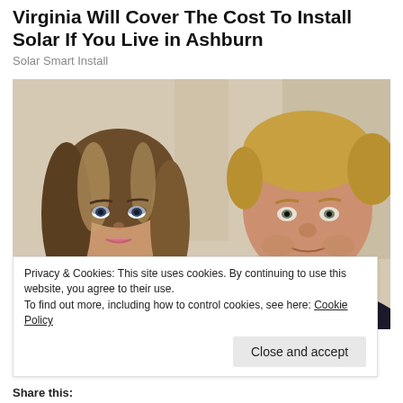Virginia Will Cover The Cost To Install Solar If You Live in Ashburn
Solar Smart Install
[Figure (photo): Photo of a woman with long blonde highlighted hair and a man in a dark suit with a red tie, posing together indoors.]
Privacy & Cookies: This site uses cookies. By continuing to use this website, you agree to their use.
To find out more, including how to control cookies, see here: Cookie Policy
Close and accept
Share this: